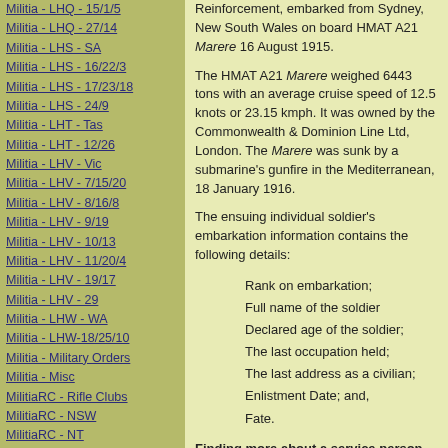Militia - LHQ - 15/1/5
Militia - LHQ - 27/14
Militia - LHS - SA
Militia - LHS - 16/22/3
Militia - LHS - 17/23/18
Militia - LHS - 24/9
Militia - LHT - Tas
Militia - LHT - 12/26
Militia - LHV - Vic
Militia - LHV - 7/15/20
Militia - LHV - 8/16/8
Militia - LHV - 9/19
Militia - LHV - 10/13
Militia - LHV - 11/20/4
Militia - LHV - 19/17
Militia - LHV - 29
Militia - LHW - WA
Militia - LHW-18/25/10
Militia - Military Orders
Militia - Misc
MilitiaRC - Rifle Clubs
MilitiaRC - NSW
MilitiaRC - NT
MilitiaRC - Qld
MilitiaRC - SA
MilitiaRC - Tas
MilitiaRC - Vic
MilitiaRC - WA
Reinforcement, embarked from Sydney, New South Wales on board HMAT A21 Marere 16 August 1915.
The HMAT A21 Marere weighed 6443 tons with an average cruise speed of 12.5 knots or 23.15 kmph. It was owned by the Commonwealth & Dominion Line Ltd, London. The Marere was sunk by a submarine's gunfire in the Mediterranean, 18 January 1916.
The ensuing individual soldier's embarkation information contains the following details:
Rank on embarkation;
Full name of the soldier
Declared age of the soldier;
The last occupation held;
The last address as a civilian;
Enlistment Date; and,
Fate.
Finding more about a service person.